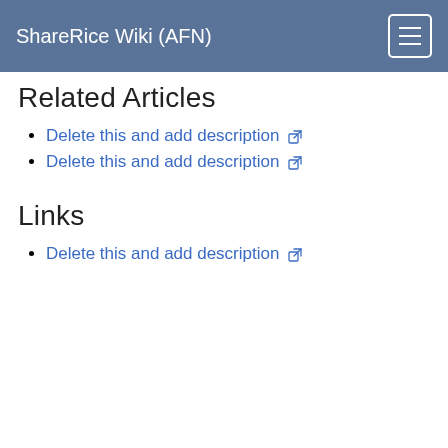ShareRice Wiki (AFN)
Related Articles
Delete this and add description
Delete this and add description
Links
Delete this and add description